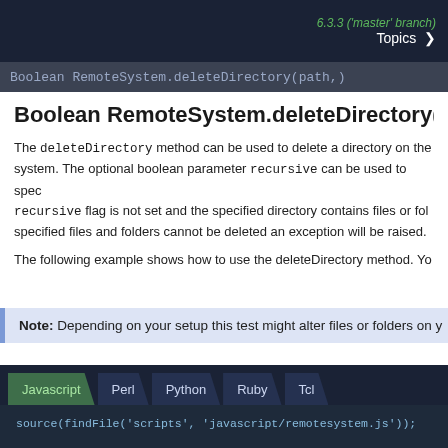6.3.3 ('master' branch)  Topics >
Boolean RemoteSystem.deleteDirectory(path,
Boolean RemoteSystem.deleteDirectory(path, recursi
The deleteDirectory method can be used to delete a directory on the system. The optional boolean parameter recursive can be used to spec recursive flag is not set and the specified directory contains files or folders specified files and folders cannot be deleted an exception will be raised.
The following example shows how to use the deleteDirectory method. Yo
Note: Depending on your setup this test might alter files or folders on y
[Figure (screenshot): Code tabs: Javascript (active), Perl, Python, Ruby, Tcl]
source(findFile('scripts', 'javascript/remotesystem.js'));

function main() {
    try {
        remoteOS = new RemoteSystem();